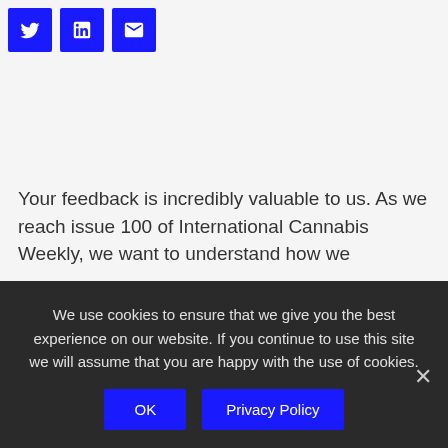[Figure (other): Three social share buttons (Twitter, LinkedIn, Email) in blue squares]
Your feedback is incredibly valuable to us. As we reach issue 100 of International Cannabis Weekly, we want to understand how we
We use cookies to ensure that we give you the best experience on our website. If you continue to use this site we will assume that you are happy with the use of cookies.
OK
Privacy Policy